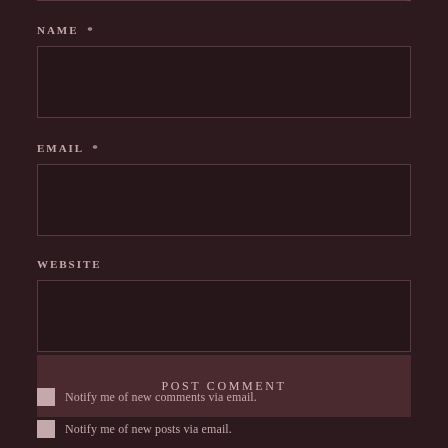NAME *
[Figure (other): Empty text input field for NAME]
EMAIL *
[Figure (other): Empty text input field for EMAIL]
WEBSITE
[Figure (other): Empty text input field for WEBSITE]
POST COMMENT
Notify me of new comments via email.
Notify me of new posts via email.